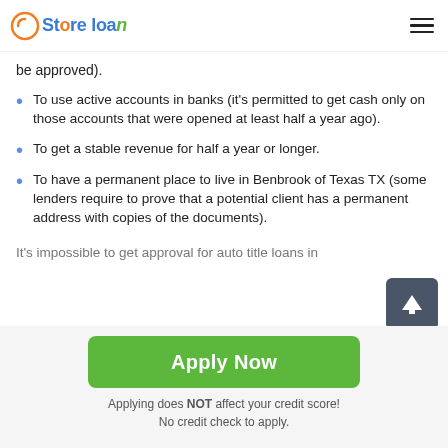Store loan
be approved).
To use active accounts in banks (it's permitted to get cash only on those accounts that were opened at least half a year ago).
To get a stable revenue for half a year or longer.
To have a permanent place to live in Benbrook of Texas TX (some lenders require to prove that a potential client has a permanent address with copies of the documents).
It's impossible to get approval for auto title loans in
Apply Now
Applying does NOT affect your credit score!
No credit check to apply.